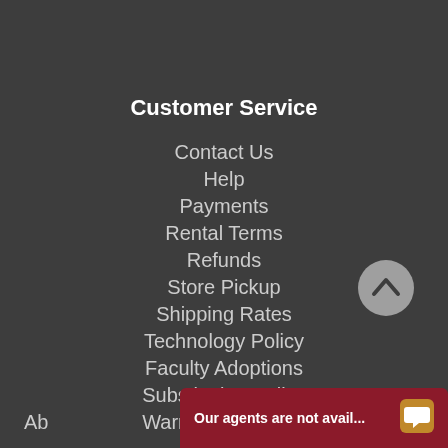Customer Service
Contact Us
Help
Payments
Rental Terms
Refunds
Store Pickup
Shipping Rates
Technology Policy
Faculty Adoptions
Substitution Policy
Warranty & Repair
[Figure (other): Back to top arrow button circle]
Ab...
Our agents are not avail...